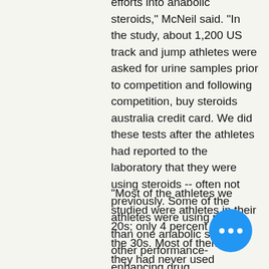efforts into anabolic steroids," McNeil said. "In the study, about 1,200 US track and jump athletes were asked for urine samples prior to competition and following competition, buy steroids australia credit card. We did these tests after the athletes had reported to the laboratory that they were using steroids -- often not previously. Some of the athletes were using more than one anabolic steroid or other performance-enhancing drug.
"Most of the athletes we studied were athletes in their 20s; only 4 percent were in the 30s. Most of them said they had never used steroids. All but one said they used less than four years, with the vast majority taking up to three years, drugs anabolic mixed other steroids with.
"We found no difference in anabolic steroid use among US team athletes; they were about the same as US women, and US men